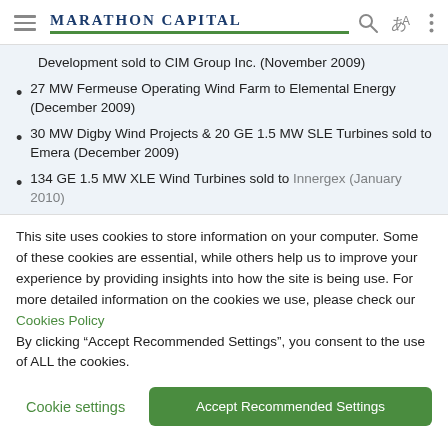MARATHON CAPITAL
Development sold to CIM Group Inc. (November 2009)
27 MW Fermeuse Operating Wind Farm to Elemental Energy (December 2009)
30 MW Digby Wind Projects & 20 GE 1.5 MW SLE Turbines sold to Emera (December 2009)
134 GE 1.5 MW XLE Wind Turbines sold to Innergex (January 2010)
This site uses cookies to store information on your computer. Some of these cookies are essential, while others help us to improve your experience by providing insights into how the site is being use. For more detailed information on the cookies we use, please check our Cookies Policy
By clicking “Accept Recommended Settings”, you consent to the use of ALL the cookies.